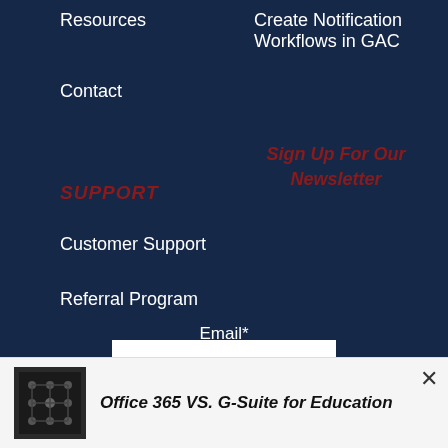Resources
Contact
SUPPORT
Customer Support
Referral Program
Create Notification Workflows in GAC
Sign Up For Our Newsletter
Email*
[Figure (screenshot): White email input text field]
[Figure (photo): Thumbnail image related to Office 365 VS. G-Suite for Education article]
Office 365 VS. G-Suite for Education